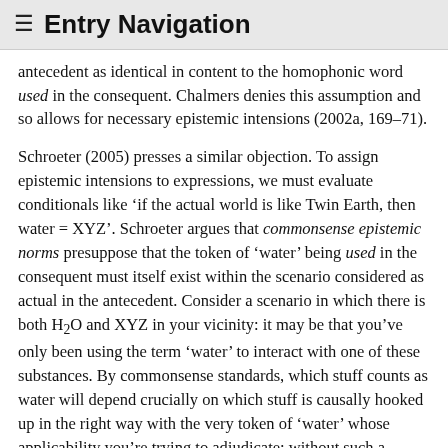≡ Entry Navigation
antecedent as identical in content to the homophonic word used in the consequent. Chalmers denies this assumption and so allows for necessary epistemic intensions (2002a, 169–71).
Schroeter (2005) presses a similar objection. To assign epistemic intensions to expressions, we must evaluate conditionals like 'if the actual world is like Twin Earth, then water = XYZ'. Schroeter argues that commonsense epistemic norms presuppose that the token of 'water' being used in the consequent must itself exist within the scenario considered as actual in the antecedent. Consider a scenario in which there is both H₂O and XYZ in your vicinity: it may be that you've only been using the term 'water' to interact with one of these substances. By commonsense standards, which stuff counts as water will depend crucially on which stuff is causally hooked up in the right way with the very token of 'water' whose applicability you're trying to adjudicate: without such a causal hook-up, no verdict is justifiable. If this is right, epistemic intensions will be undefined for expressions in...